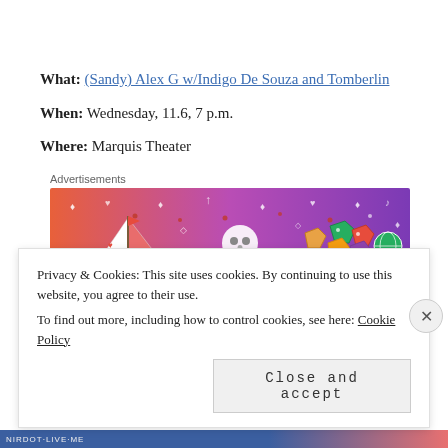What: (Sandy) Alex G w/Indigo De Souza and Tomberlin
When: Wednesday, 11.6, 7 p.m.
Where: Marquis Theater
Advertisements
[Figure (illustration): Fandom advertisement banner with colorful gradient background (orange to purple), featuring a sailboat sticker, skull, gem icons, music notes, and bold 'FANDOM' text.]
Privacy & Cookies: This site uses cookies. By continuing to use this website, you agree to their use.
To find out more, including how to control cookies, see here: Cookie Policy